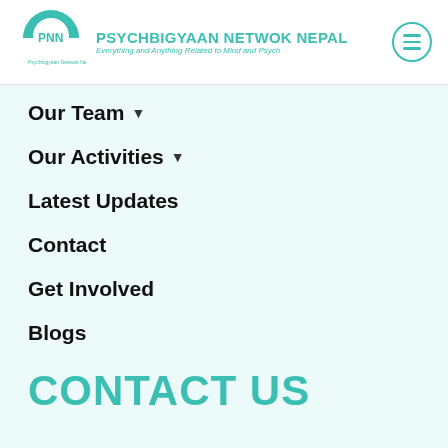[Figure (logo): Psychbigyaan Network Nepal logo: teal circular emblem with PNN letters and brain/tree motif]
PSYCHBIGYAAN NETWOK NEPAL
Everything and Anything Related to Mind and Psych
Our Team ▾
Our Activities ▾
Latest Updates
Contact
Get Involved
Blogs
CONTACT US